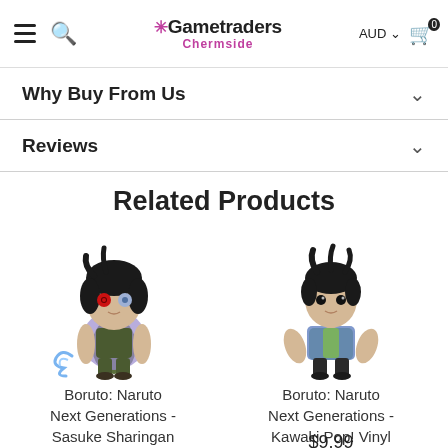Gametraders Chermside | AUD | Cart 0
Why Buy From Us
Reviews
Related Products
[Figure (illustration): Funko Pop vinyl figure of Sasuke Sharingan from Boruto: Naruto Next Generations, showing character with red Sharingan eye, dark hair, holding blue energy/lightning]
Boruto: Naruto Next Generations - Sasuke Sharingan US Exclusive Pop!
[Figure (illustration): Funko Pop vinyl figure of Kawaki from Boruto: Naruto Next Generations, showing character with dark hair, wearing blue vest and green shirt]
Boruto: Naruto Next Generations - Kawaki Pop! Vinyl
$9.99